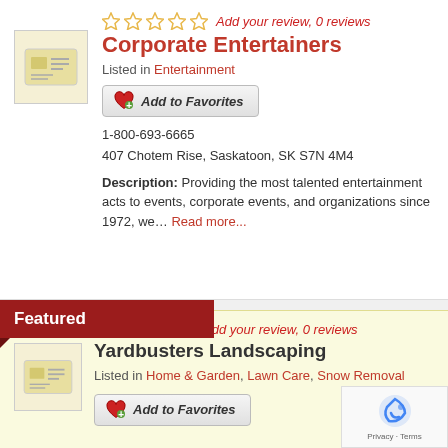[Figure (other): Star rating (0 stars, 5 outlined stars) with 'Add your review, 0 reviews' link for Corporate Entertainers]
Corporate Entertainers
Listed in Entertainment
Add to Favorites button
1-800-693-6665
407 Chotem Rise, Saskatoon, SK S7N 4M4
Description: Providing the most talented entertainment acts to events, corporate events, and organizations since 1972, we… Read more...
Featured
[Figure (other): Star rating (0 stars, 5 outlined stars) with 'Add your review, 0 reviews' link for Yardbusters Landscaping]
Yardbusters Landscaping
Listed in Home & Garden, Lawn Care, Snow Removal
Add to Favorites button